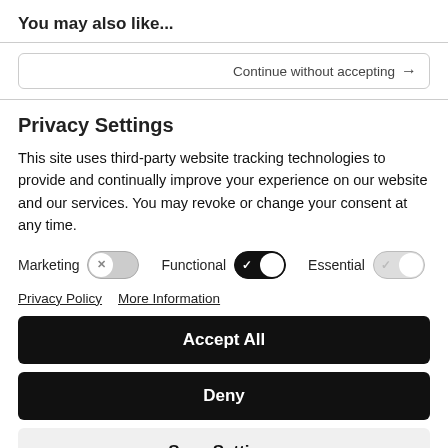You may also like...
Continue without accepting →
Privacy Settings
This site uses third-party website tracking technologies to provide and continually improve your experience on our website and our services. You may revoke or change your consent at any time.
Marketing [toggle off]  Functional [toggle on]  Essential [toggle on, greyed]
Privacy Policy   More Information
Accept All
Deny
Save Settings
Powered by Usercentrics Consent Management